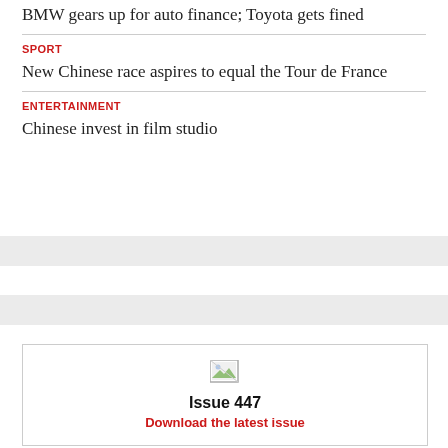BMW gears up for auto finance; Toyota gets fined
SPORT
New Chinese race aspires to equal the Tour de France
ENTERTAINMENT
Chinese invest in film studio
[Figure (other): Broken image icon placeholder]
Issue 447
Download the latest issue